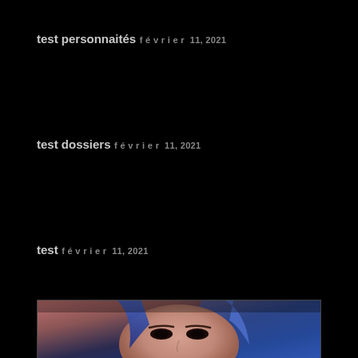test personnaités
février 11, 2021
test dossiers
février 11, 2021
test
février 11, 2021
[Figure (photo): Close-up photo of a person's face (eyes and forehead visible) with blue-tinted dramatic lighting against a dark background, shown partially at the bottom of the page.]